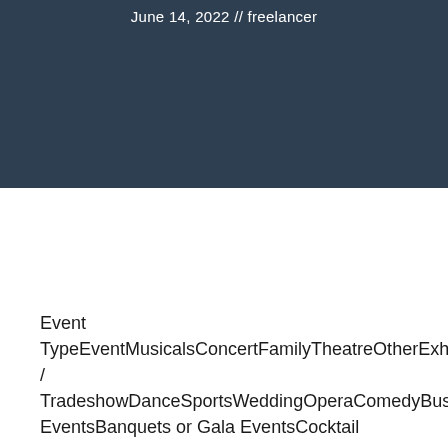June 14, 2022 // freelancer
Event TypeEventMusicalsConcertFamilyTheatreOtherExhibition / TradeshowDanceSportsWeddingOperaComedyBusiness EventsBanquets or Gala EventsCocktail